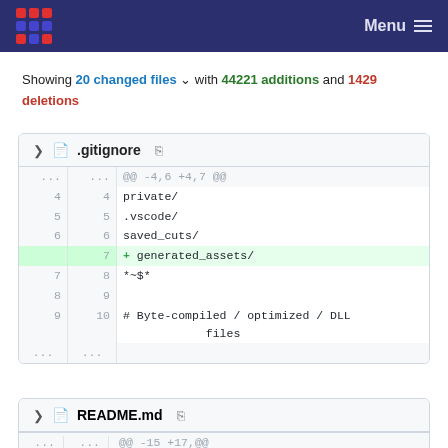Menu
Showing 20 changed files with 44221 additions and 1429 deletions
| old | new | code |
| --- | --- | --- |
| ... | ... | @@ -4,6 +4,7 @@ |
| 4 | 4 | private/ |
| 5 | 5 | .vscode/ |
| 6 | 6 | saved_cuts/ |
|  | 7 | + generated_assets/ |
| 7 | 8 | *~$* |
| 8 | 9 |  |
| 9 | 10 | # Byte-compiled / optimized / DLL files |
| ... | ... |  |
| old | new | code |
| --- | --- | --- |
| ... | ... | @@ -15 +17,@@ |